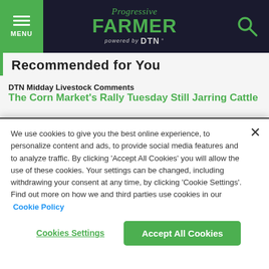Progressive Farmer powered by DTN
Recommended for You
DTN Midday Livestock Comments
The Corn Market's Rally Tuesday Still Jarring Cattle
8/24/2022 | 11:41 AM CDT
The livestock complex has taken a lower tone to Wednesday's market as the
We use cookies to give you the best online experience, to personalize content and ads, to provide social media features and to analyze traffic. By clicking 'Accept All Cookies' you will allow the use of these cookies. Your settings can be changed, including withdrawing your consent at any time, by clicking 'Cookie Settings'. Find out more on how we and third parties use cookies in our Cookie Policy
Cookies Settings
Accept All Cookies